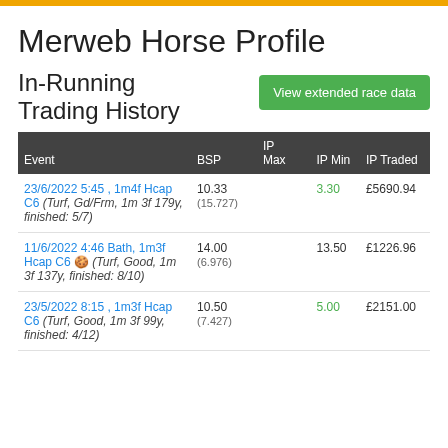Merweb Horse Profile
In-Running Trading History
| Event | BSP | IP Max | IP Min | IP Traded |
| --- | --- | --- | --- | --- |
| 23/6/2022 5:45 , 1m4f Hcap C6 (Turf, Gd/Frm, 1m 3f 179y, finished: 5/7) | 10.33
(15.727) |  | 3.30 | £5690.94 |
| 11/6/2022 4:46 Bath, 1m3f Hcap C6 🍪 (Turf, Good, 1m 3f 137y, finished: 8/10) | 14.00
(6.976) |  | 13.50 | £1226.96 |
| 23/5/2022 8:15 , 1m3f Hcap C6 (Turf, Good, 1m 3f 99y, finished: 4/12) | 10.50
(7.427) |  | 5.00 | £2151.00 |